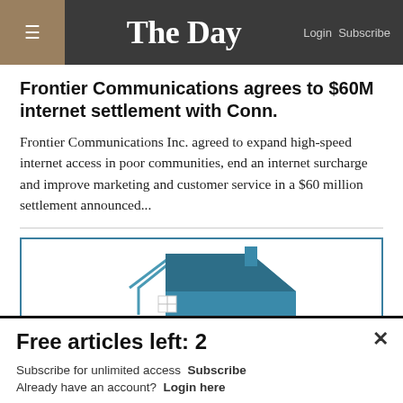The Day — Login Subscribe
Frontier Communications agrees to $60M internet settlement with Conn.
Frontier Communications Inc. agreed to expand high-speed internet access in poor communities, end an internet surcharge and improve marketing and customer service in a $60 million settlement announced...
[Figure (logo): Housing logo with house icon and 'HOUSING' text below]
Free articles left: 2
Subscribe for unlimited access  Subscribe
Already have an account?  Login here